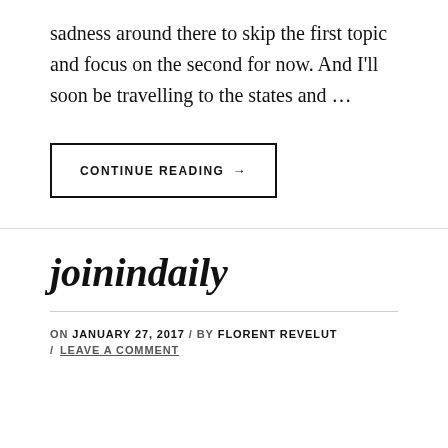sadness around there to skip the first topic and focus on the second for now. And I'll soon be travelling to the states and …
CONTINUE READING →
joinindaily
ON JANUARY 27, 2017 / BY FLORENT REVELUT / LEAVE A COMMENT